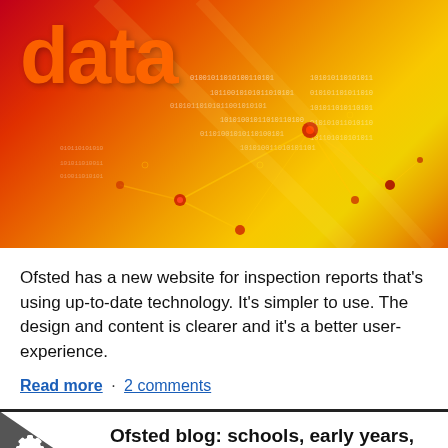[Figure (illustration): Abstract data visualization image with red-orange-yellow gradient background showing network nodes connected by lines with binary code text, and the word 'data' in large orange text at top left]
Ofsted has a new website for inspection reports that's using up-to-date technology. It's simpler to use. The design and content is clearer and it's a better user-experience.
Read more · 2 comments
Ofsted blog: schools, early years, further